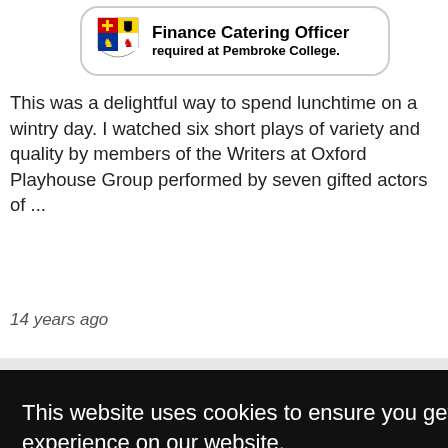[Figure (logo): Finance Catering Officer recruitment banner with Pembroke College coat of arms logo. Text: Finance Catering Officer required at Pembroke College.]
This was a delightful way to spend lunchtime on a wintry day. I watched six short plays of variety and quality by members of the Writers at Oxford Playhouse Group performed by seven gifted actors of ...
14 years ago
Recent reviews
This website uses cookies to ensure you get the best experience on our website.
Learn more
Got it!